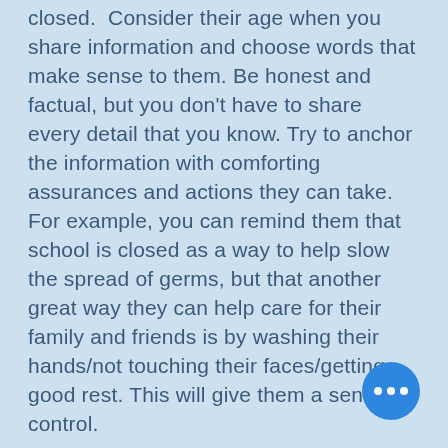closed.  Consider their age when you share information and choose words that make sense to them. Be honest and factual, but you don't have to share every detail that you know. Try to anchor the information with comforting assurances and actions they can take. For example, you can remind them that school is closed as a way to help slow the spread of germs, but that another great way they can help care for their family and friends is by washing their hands/not touching their faces/getting good rest. This will give them a sense of control.
VALIDATE FEELINGS
When you're talking with a child, it is